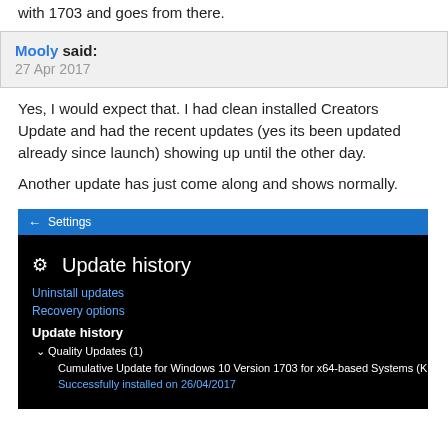with 1703 and goes from there.
Mooly said:
27 Apr 2017
Yes, I would expect that. I had clean installed Creators Update and had the recent updates (yes its been updated already since launch) showing up until the other day.

Another update has just come along and shows normally.
[Figure (screenshot): Windows 10 Settings screenshot showing Update history page with Quality Updates (1) section. Cumulative Update for Windows 10 Version 1703 for x64-based Systems (KB4016240) shown as Successfully installed on 26/04/2017.]